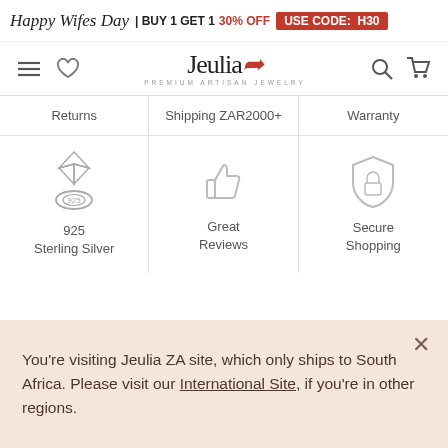Happy Wifes Day | BUY 1 GET 1 30% OFF USE CODE: H30
[Figure (logo): Jeulia logo with navigation icons (hamburger menu, heart, search, cart)]
Returns
Shipping ZAR2000+
Warranty
[Figure (illustration): 925 sterling silver ring icon]
925 Sterling Silver
[Figure (illustration): Thumbs up icon for Great Reviews]
Great Reviews
[Figure (illustration): Shield icon for Secure Shopping]
Secure Shopping
You're visiting Jeulia ZA site, which only ships to South Africa. Please visit our International Site, if you're in other regions.